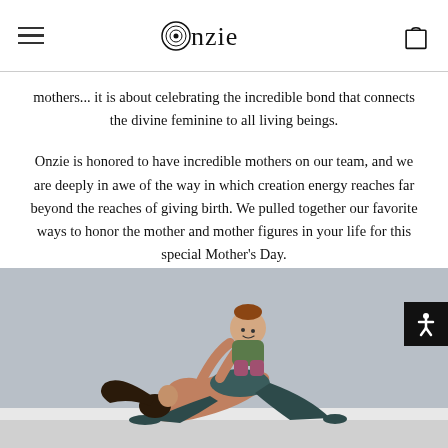Onzie
mothers... it is about celebrating the incredible bond that connects the divine feminine to all living beings.
Onzie is honored to have incredible mothers on our team, and we are deeply in awe of the way in which creation energy reaches far beyond the reaches of giving birth. We pulled together our favorite ways to honor the mother and mother figures in your life for this special Mother’s Day.
[Figure (photo): A woman in athletic wear (dark leggings and sports bra) doing a yoga bridge pose on the floor, holding up a baby wearing a green shirt and floral pants. The background is a grey wall with white baseboard.]